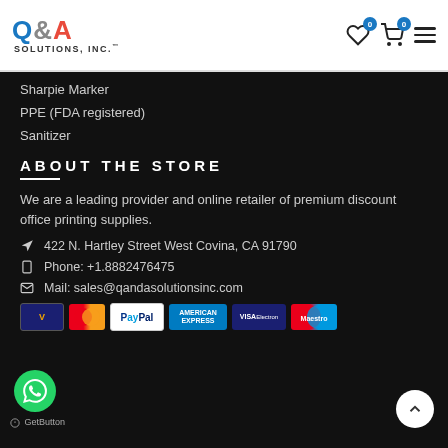[Figure (logo): Q&A Solutions Inc. logo with blue Q, red A, grey ampersand]
Sharpie Marker
PPE (FDA registered)
Sanitizer
ABOUT THE STORE
We are a leading provider and online retailer of premium discount office printing supplies.
422 N. Hartley Street West Covina, CA 91790
Phone: +1.8882476475
Mail: sales@qandasolutionsinc.com
[Figure (other): Payment method logos: Visa, Mastercard, PayPal, American Express, Visa Electron, Maestro]
[Figure (other): WhatsApp GetButton widget]
GetButton